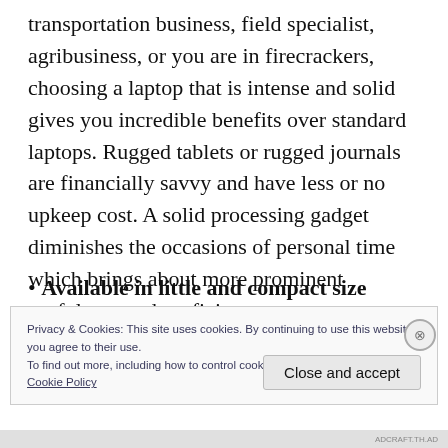transportation business, field specialist, agribusiness, or you are in firecrackers, choosing a laptop that is intense and solid gives you incredible benefits over standard laptops. Rugged tablets or rugged journals are financially savvy and have less or no upkeep cost. A solid processing gadget diminishes the occasions of personal time which brings about more prominent usefulness and proficiency.
• Available in little and compact size
Privacy & Cookies: This site uses cookies. By continuing to use this website, you agree to their use.
To find out more, including how to control cookies, see here:
Cookie Policy